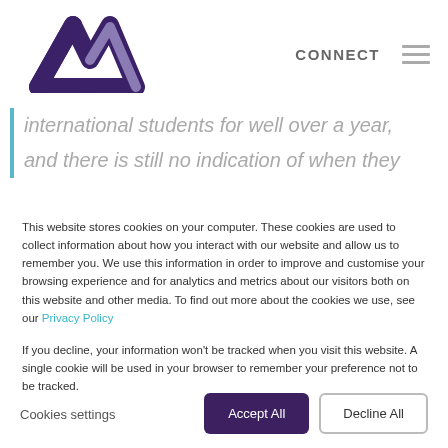[Figure (logo): Acumen logo — stylized purple A/checkmark monogram with text 'ACUMEN PART OF SANNAM S4 GROUP' below]
CONNECT  ☰
international students for well over a year, and there is still no indication of when they
This website stores cookies on your computer. These cookies are used to collect information about how you interact with our website and allow us to remember you. We use this information in order to improve and customise your browsing experience and for analytics and metrics about our visitors both on this website and other media. To find out more about the cookies we use, see our Privacy Policy

If you decline, your information won't be tracked when you visit this website. A single cookie will be used in your browser to remember your preference not to be tracked.
Cookies settings
Accept All
Decline All